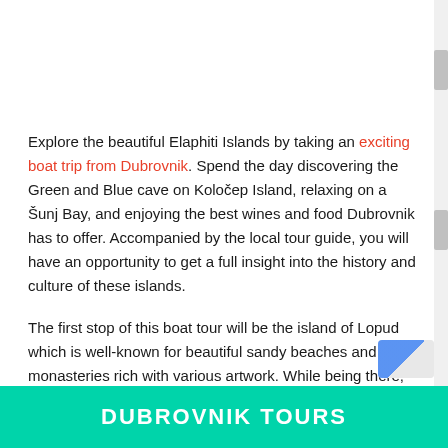Explore the beautiful Elaphiti Islands by taking an exciting boat trip from Dubrovnik. Spend the day discovering the Green and Blue cave on Koločep Island, relaxing on a Šunj Bay, and enjoying the best wines and food Dubrovnik has to offer. Accompanied by the local tour guide, you will have an opportunity to get a full insight into the history and culture of these islands.
The first stop of this boat tour will be the island of Lopud which is well-known for beautiful sandy beaches and monasteries rich with various artwork. While being there, you will be able to spend some time swimming and snorkeling in the crystal clear sea if you
DUBROVNIK TOURS